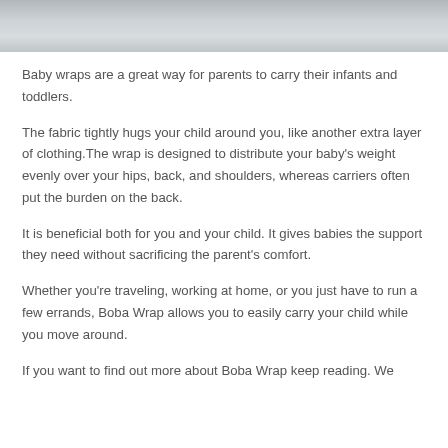[Figure (photo): Partial view of a baby wrap fabric, light grey/white cloth texture, cropped at top of page]
Baby wraps are a great way for parents to carry their infants and toddlers.
The fabric tightly hugs your child around you, like another extra layer of clothing.The wrap is designed to distribute your baby's weight evenly over your hips, back, and shoulders, whereas carriers often put the burden on the back.
It is beneficial both for you and your child. It gives babies the support they need without sacrificing the parent's comfort.
Whether you're traveling, working at home, or you just have to run a few errands, Boba Wrap allows you to easily carry your child while you move around.
If you want to find out more about Boba Wrap keep reading. We